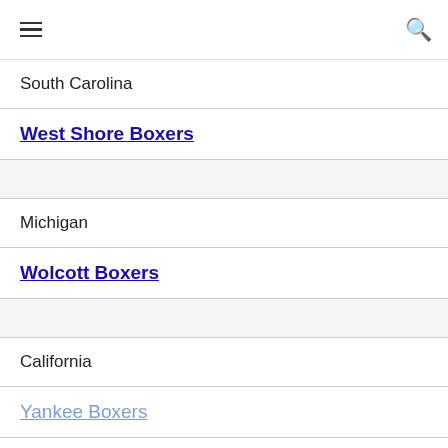≡ 🔍
South Carolina
West Shore Boxers
Michigan
Wolcott Boxers
California
Yankee Boxers